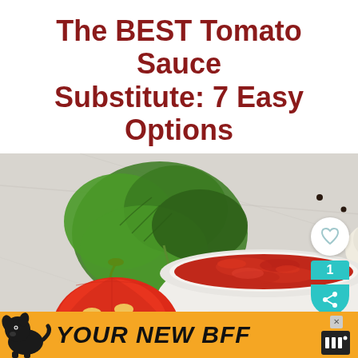The BEST Tomato Sauce Substitute: 7 Easy Options
[Figure (photo): Overhead flat-lay photo of a white bowl filled with thick red tomato sauce, surrounded by fresh parsley, a garlic bulb, red chili peppers, tomato slices, and scattered black peppercorns on a light grey marble surface.]
[Figure (infographic): Advertisement bar at bottom reading YOUR NEW BFF with a black dog silhouette and orange background, with a close button and app logo.]